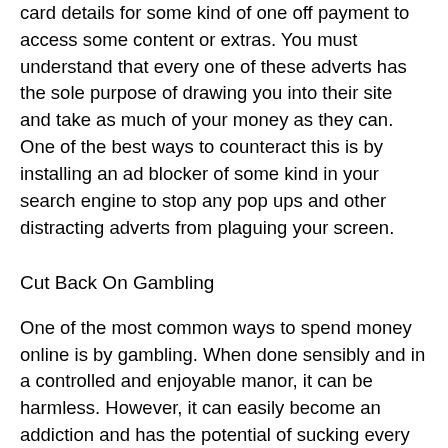card details for some kind of one off payment to access some content or extras. You must understand that every one of these adverts has the sole purpose of drawing you into their site and take as much of your money as they can. One of the best ways to counteract this is by installing an ad blocker of some kind in your search engine to stop any pop ups and other distracting adverts from plaguing your screen.
Cut Back On Gambling
One of the most common ways to spend money online is by gambling. When done sensibly and in a controlled and enjoyable manor, it can be harmless. However, it can easily become an addiction and has the potential of sucking every last penny from your account. By visiting a site like freebets you can have a bit of fun without having to spend a thing, which will help your levels of spending massively. Allowing your habit to get out of control can lead to serious money problems, so it's important that you are able to acknowledge when it is getting out of hand and take steps